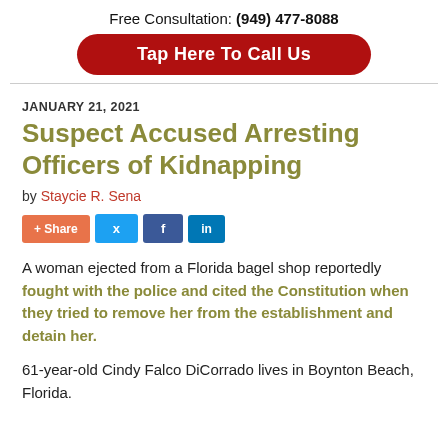Free Consultation: (949) 477-8088
Tap Here To Call Us
JANUARY 21, 2021
Suspect Accused Arresting Officers of Kidnapping
by Staycie R. Sena
[Figure (infographic): Social share buttons: + Share, Twitter, Facebook, LinkedIn]
A woman ejected from a Florida bagel shop reportedly fought with the police and cited the Constitution when they tried to remove her from the establishment and detain her.
61-year-old Cindy Falco DiCorrado lives in Boynton Beach, Florida.